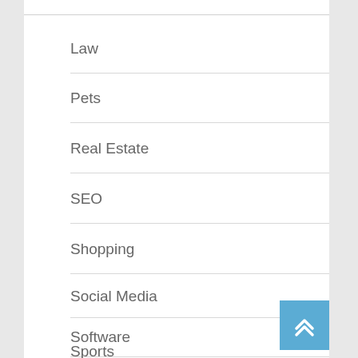Law
Pets
Real Estate
SEO
Shopping
Social Media
Software
Sports